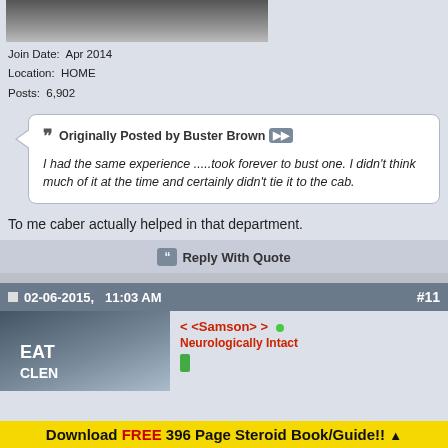[Figure (photo): Partial photo of a person, cropped at top]
Join Date:  Apr 2014
Location:  HOME
Posts:  6,902
Originally Posted by Buster Brown
I had the same experience .....took forever to bust one. I didn't think much of it at the time and certainly didn't tie it to the cab.
To me caber actually helped in that department.
Reply With Quote
02-06-2015,   11:03 AM
#11
[Figure (photo): Photo of a muscular man wearing a grey shirt with EAT text]
< <Samson> >
Neurologically Intact
Download FREE 396 Page Steroid Book/Guide!! ▲